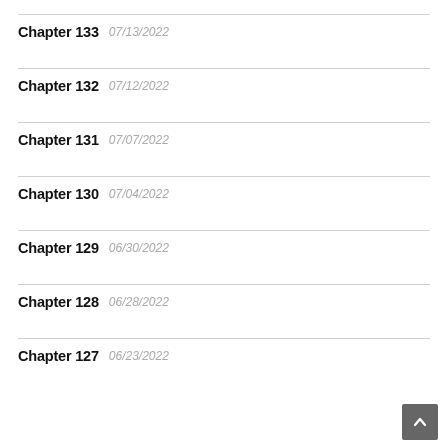Chapter 133  07/13/2022
Chapter 132  07/12/2022
Chapter 131  07/07/2022
Chapter 130  07/04/2022
Chapter 129  06/30/2022
Chapter 128  06/28/2022
Chapter 127  06/23/2022